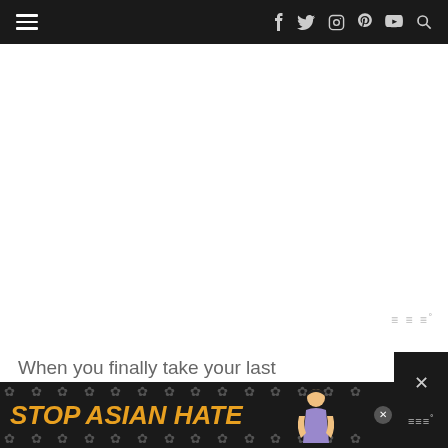Navigation bar with hamburger menu and social icons: f (Facebook), Twitter, Instagram, Pinterest, YouTube, Search
[Figure (screenshot): Large white blank content area in the middle of the page]
When you finally take your last
[Figure (screenshot): Advertisement banner: STOP ASIAN HATE with floral background and illustrated girl, with close button]
[Figure (screenshot): reCAPTCHA badge on the right side]